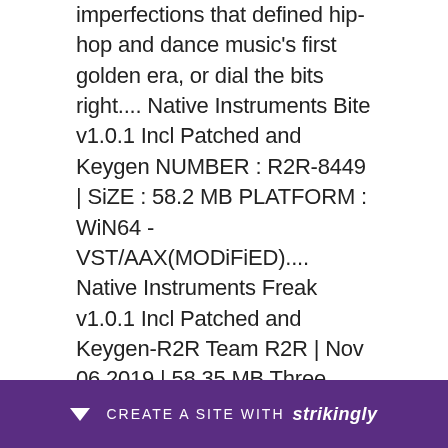imperfections that defined hip-hop and dance music's first golden era, or dial the bits right.... Native Instruments Bite v1.0.1 Incl Patched and Keygen NUMBER : R2R-8449 | SiZE : 58.2 MB PLATFORM : WiN64 - VST/AAX(MODiFiED).... Native Instruments Freak v1.0.1 Incl Patched and Keygen-R2R Team R2R | Nov 06 2019 | 58.35 MB Three sound-bending modulation types offer retro radio lo-fi.... Bite v1.0.1 Incl Patched and Keygen-R2R. More information. Saved by. VSTboi.com. Similar ideas. More information. Antares AVOX Evo VST RTAS v3.0.2-AiR.. Sam[...] [...] YBR ID-R[...] No. N...
CREATE A SITE WITH strikingly